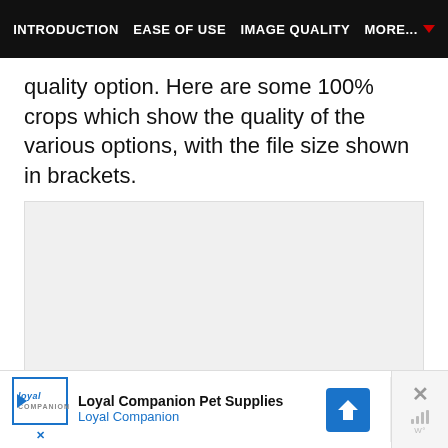INTRODUCTION | EASE OF USE | IMAGE QUALITY | MORE...
quality option. Here are some 100% crops which show the quality of the various options, with the file size shown in brackets.
[Figure (photo): Empty light gray image placeholder area with three small gray dots at the bottom center, representing a slideshow or gallery placeholder.]
[Figure (other): Advertisement banner for Loyal Companion Pet Supplies showing logo, brand name, navigation icon, and close/mute controls.]